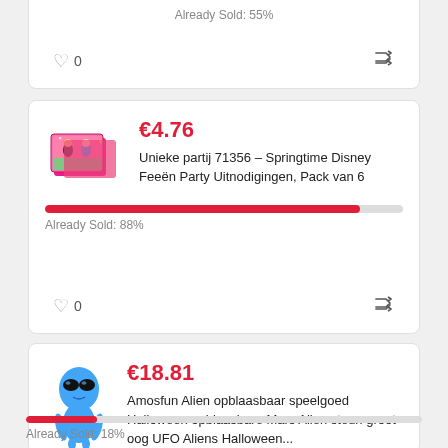Already Sold: 55%
♡ 0
⇄
€4.76
Unieke partij 71356 – Springtime Disney Feeën Party Uitnodigingen, Pack van 6
Already Sold: 88%
♡ 0
⇄
€18.81
Amosfun Alien opblaasbaar speelgoed Halloween opblaasbare Mars Alien steun groot oog UFO Aliens Halloween...
Already Sold: 18%